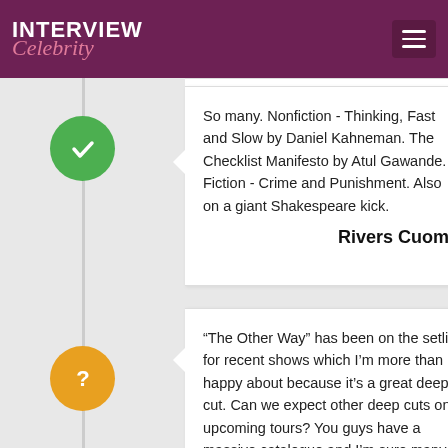INTERVIEW Celebrity
So many. Nonfiction - Thinking, Fast and Slow by Daniel Kahneman. The Checklist Manifesto by Atul Gawande. Fiction - Crime and Punishment. Also on a giant Shakespeare kick.
Rivers Cuomo
“The Other Way” has been on the setlist for recent shows which I’m more than happy about because it’s a great deep cut. Can we expect other deep cuts on upcoming tours? You guys have a massive catalogue and I’m sure many fans, including myself, would go to multiple shows on a single tour if we knew there would be different songs played each night. Please give Maladroit